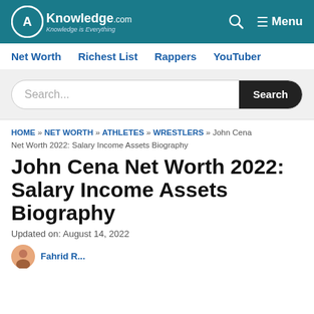AKnowledge.com — Knowledge is Everything | Search | Menu
Net Worth  Richest List  Rappers  YouTuber
Search...
HOME » NET WORTH » ATHLETES » WRESTLERS » John Cena Net Worth 2022: Salary Income Assets Biography
John Cena Net Worth 2022: Salary Income Assets Biography
Updated on: August 14, 2022